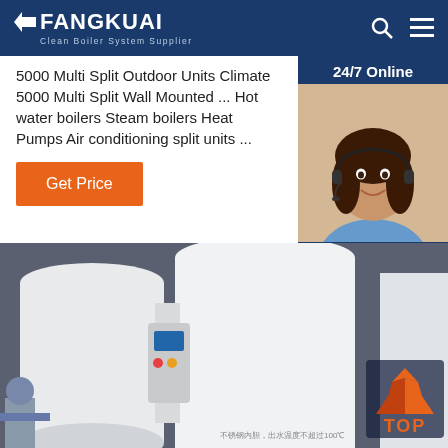FANGKUAI Clean Boiler System Supplier
5000 Multi Split Outdoor Units Climate 5000 Multi Split Wall Mounted ... Hot water boilers Steam boilers Heat Pumps Air conditioning split units ...
Get Price
[Figure (photo): Customer service agent with headset, smiling, with 24/7 Online label and Click here for free chat! / QUOTATION button on dark blue sidebar]
[Figure (photo): Industrial hot water boilers and heating equipment in an installation setting, white cylindrical tanks with control panels]
[Figure (other): TOP navigation badge with orange triangle/diamond icon]